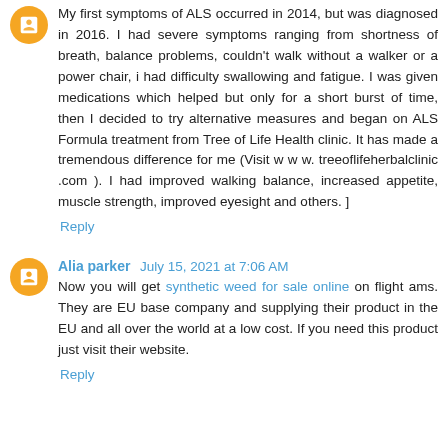My first symptoms of ALS occurred in 2014, but was diagnosed in 2016. I had severe symptoms ranging from shortness of breath, balance problems, couldn't walk without a walker or a power chair, i had difficulty swallowing and fatigue. I was given medications which helped but only for a short burst of time, then I decided to try alternative measures and began on ALS Formula treatment from Tree of Life Health clinic. It has made a tremendous difference for me (Visit w w w. treeoflifeherbalclinic .com ). I had improved walking balance, increased appetite, muscle strength, improved eyesight and others. ]
Reply
Alia parker  July 15, 2021 at 7:06 AM
Now you will get synthetic weed for sale online on flight ams. They are EU base company and supplying their product in the EU and all over the world at a low cost. If you need this product just visit their website.
Reply